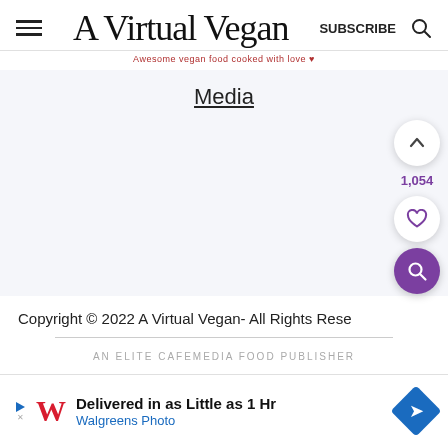A Virtual Vegan — SUBSCRIBE (search icon)
Awesome vegan food cooked with love ♥
Media
1,054
Copyright © 2022 A Virtual Vegan- All Rights Reserved
AN ELITE CAFEMEDIA FOOD PUBLISHER
[Figure (infographic): Advertisement banner: Walgreens Photo - Delivered in as Little as 1 Hr]